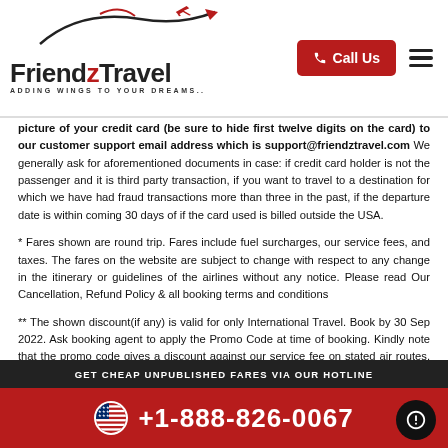Friendz Travel - ADDING WINGS TO YOUR DREAMS.. | Call Us
picture of your credit card (be sure to hide first twelve digits on the card) to our customer support email address which is support@friendztravel.com We generally ask for aforementioned documents in case: if credit card holder is not the passenger and it is third party transaction, if you want to travel to a destination for which we have had fraud transactions more than three in the past, if the departure date is within coming 30 days of if the card used is billed outside the USA.
* Fares shown are round trip. Fares include fuel surcharges, our service fees, and taxes. The fares on the website are subject to change with respect to any change in the itinerary or guidelines of the airlines without any notice. Please read Our Cancellation, Refund Policy & all booking terms and conditions
** The shown discount(if any) is valid for only International Travel. Book by 30 Sep 2022. Ask booking agent to apply the Promo Code at time of booking. Kindly note that the promo code gives a discount against our service fee on stated air routes. The given Promo Code(if any) expires on date indicated and can be withdrawn at anytime without notice
All displayed prices are based on the searches done in the last 24 hours for specific
GET CHEAP UNPUBLISHED FARES VIA OUR HOTLINE | +1-888-826-0067